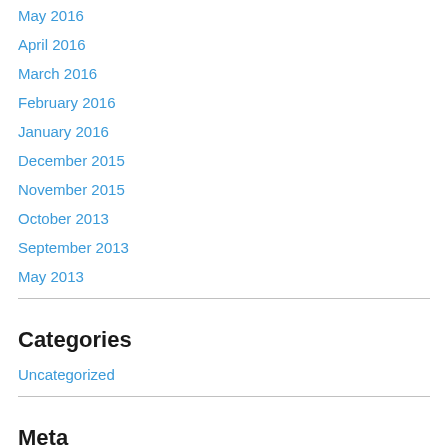May 2016
April 2016
March 2016
February 2016
January 2016
December 2015
November 2015
October 2013
September 2013
May 2013
Categories
Uncategorized
Meta
Register